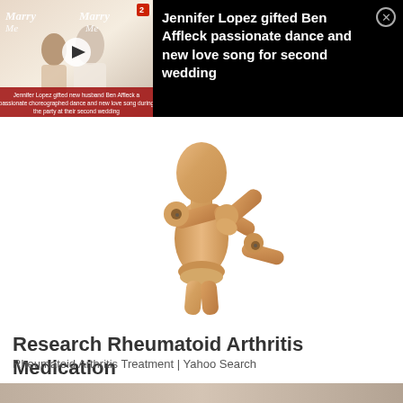[Figure (screenshot): Video ad overlay: thumbnail of 'Marry Me' movie with play button and '2' logo, caption about Jennifer Lopez and Ben Affleck. Black background with white bold text headline.]
Jennifer Lopez gifted Ben Affleck passionate dance and new love song for second wedding
[Figure (photo): Wooden articulated artist mannequin posing with one arm across chest and other hand on hip, on white background, suggesting arthritis/joint pain.]
Research Rheumatoid Arthritis Medication
Rheumatoid Arthritis Treatment | Yahoo Search
[Figure (photo): Partial bottom strip showing another image/ad at the very bottom of the page.]